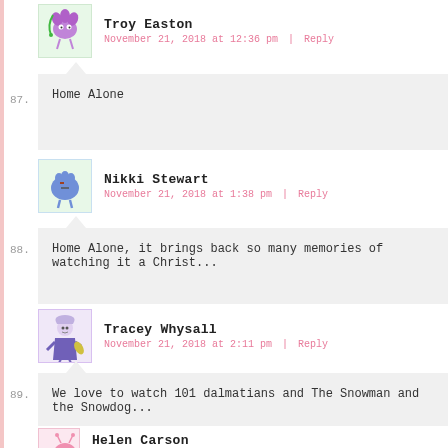[Figure (illustration): Avatar of Troy Easton - purple flower-like cartoon monster]
Troy Easton
November 21, 2018 at 12:36 pm | Reply
87. Home Alone
[Figure (illustration): Avatar of Nikki Stewart - blue blob cartoon monster]
Nikki Stewart
November 21, 2018 at 1:38 pm | Reply
88. Home Alone, it brings back so many memories of watching it a Christ...
[Figure (illustration): Avatar of Tracey Whysall - purple-robed figure cartoon]
Tracey Whysall
November 21, 2018 at 2:11 pm | Reply
89. We love to watch 101 dalmatians and The Snowman and the Snowdog...
[Figure (illustration): Avatar of Helen Carson - pink bug cartoon monster]
Helen Carson